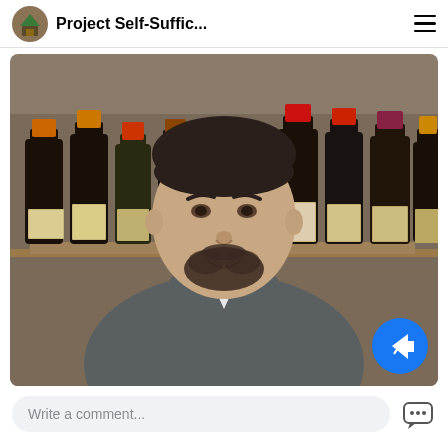Project Self-Suffic...
[Figure (photo): Man with dark hair and beard wearing a grey v-neck sweater, smiling, standing in front of shelves of wine bottles in various colors (dark, with orange, red, and pink tops)]
Write a comment...